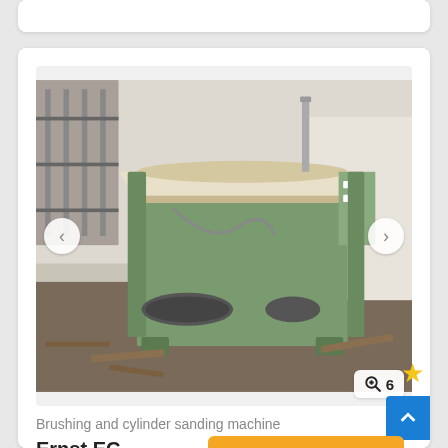[Figure (photo): Green industrial brushing and cylinder sanding machine photographed in a warehouse/workshop setting with debris on the floor and shelving in the background.]
Brushing and cylinder sanding machine
Ernst  EC
Save search query
€ Price info